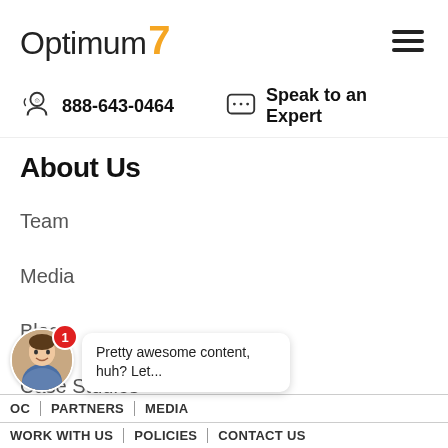Optimum7 — hamburger menu
888-643-0464   Speak to an Expert
About Us
Team
Media
Blog
Case Studies
Industries We Serve
[Figure (screenshot): Chat popup with avatar photo, notification badge '1', and bubble text: 'Pretty awesome content, huh? Let...']
OC | PARTNERS | MEDIA | WORK WITH US | POLICIES | CONTACT US